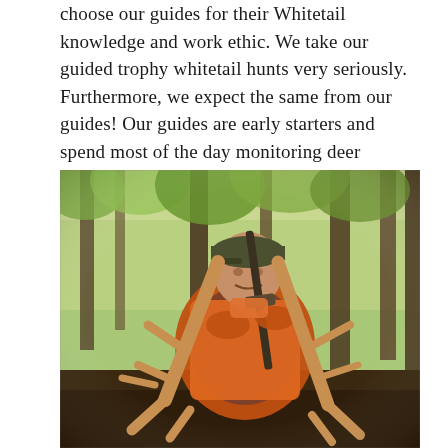choose our guides for their Whitetail knowledge and work ethic. We take our guided trophy whitetail hunts very seriously. Furthermore, we expect the same from our guides! Our guides are early starters and spend most of the day monitoring deer activity and checking trail cameras.
[Figure (photo): A hunter in camouflage clothing and an orange safety vest, wearing a camouflage cap, holding a rifle and posing with a large whitetail deer buck with impressive antlers. The setting is a forest with tall trees and autumn foliage in the background.]